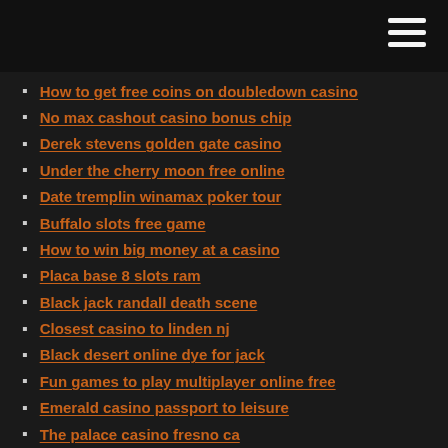How to get free coins on doubledown casino
No max cashout casino bonus chip
Derek stevens golden gate casino
Under the cherry moon free online
Date tremplin winamax poker tour
Buffalo slots free game
How to win big money at a casino
Placa base 8 slots ram
Black jack randall death scene
Closest casino to linden nj
Black desert online dye for jack
Fun games to play multiplayer online free
Emerald casino passport to leisure
The palace casino fresno ca